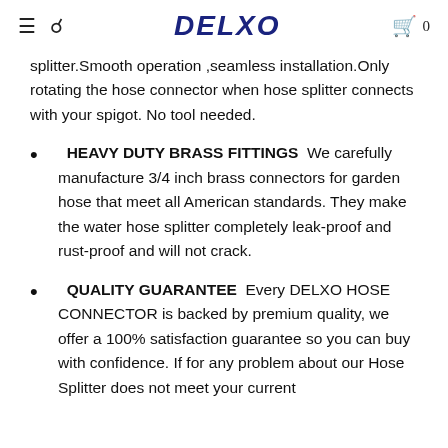DELXO  0
splitter.Smooth operation ,seamless installation.Only rotating the hose connector when hose splitter connects with your spigot. No tool needed.
HEAVY DUTY BRASS FITTINGS  We carefully manufacture 3/4 inch brass connectors for garden hose that meet all American standards. They make the water hose splitter completely leak-proof and rust-proof and will not crack.
QUALITY GUARANTEE  Every DELXO HOSE CONNECTOR is backed by premium quality, we offer a 100% satisfaction guarantee so you can buy with confidence. If for any problem about our Hose Splitter does not meet your current